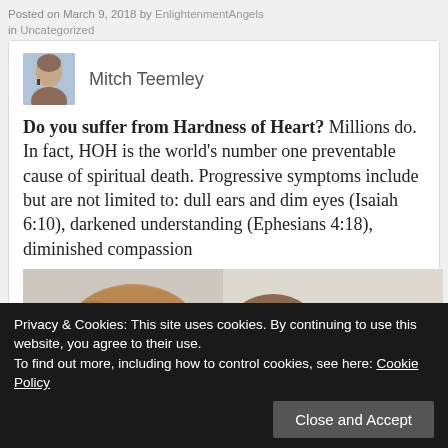Posted on March 9, 2018 by EnlightenmentAngels in Uncategorized
Mitch Teemley
Do you suffer from Hardness of Heart? Millions do. In fact, HOH is the world’s number one preventable cause of spiritual death. Progressive symptoms include but are not limited to: dull ears and dim eyes (Isaiah 6:10), darkened understanding (Ephesians 4:18), diminished compassion
[Figure (photo): Photo showing tops of two heads, one bald/balding and one with brown hair, against a light background]
Privacy & Cookies: This site uses cookies. By continuing to use this website, you agree to their use.
To find out more, including how to control cookies, see here: Cookie Policy
Close and Accept